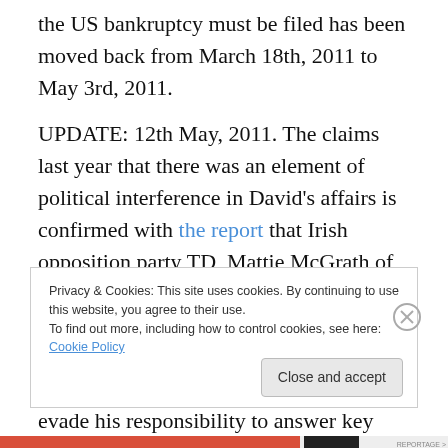the US bankruptcy must be filed has been moved back from March 18th, 2011 to May 3rd, 2011.
UPDATE: 12th May, 2011. The claims last year that there was an element of political interference in David's affairs is confirmed with the report that Irish opposition party TD, Mattie McGrath of Fianna Fail has called for the extradition of David from the US to Ireland to face questions about Anglo. ""Mr Drumm has fled to the US, and seems determined to evade his responsibility to answer key questions about some of the practices he presided over at
Privacy & Cookies: This site uses cookies. By continuing to use this website, you agree to their use.
To find out more, including how to control cookies, see here: Cookie Policy